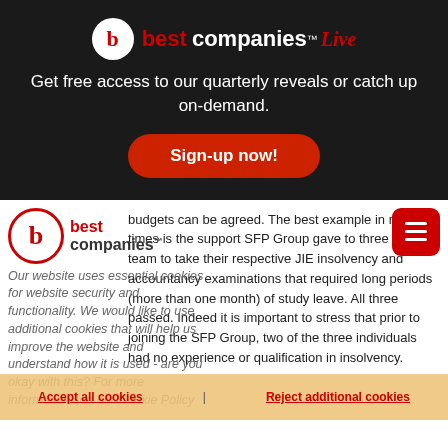[Figure (logo): Best Companies Live logo with red circle b, 'best companies Live' text]
Get free access to our quarterly reveals or catch up on-demand.
Sign-up now!
[Figure (logo): Best Companies logo in navigation bar with hamburger menu]
Our website uses essential cookies for website security and functionality. We would like to use additional cookies that will help us improve the website and understand how it is used - are you okay with this? For more information see our Cookie Policy
budgets can be agreed. The best example in recent times is the support SFP Group gave to three of their team to take their respective JIE insolvency and accountancy examinations that required long periods (more than one month) of study leave. All three passed. Indeed it is important to stress that prior to joining the SFP Group, two of the three individuals had no experience or qualification in insolvency.
Accept all cookies | Reject additional cookies